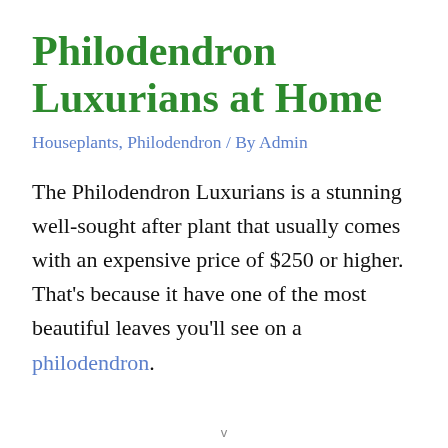Philodendron Luxurians at Home
Houseplants, Philodendron / By Admin
The Philodendron Luxurians is a stunning well-sought after plant that usually comes with an expensive price of $250 or higher. That’s because it have one of the most beautiful leaves you’ll see on a philodendron.